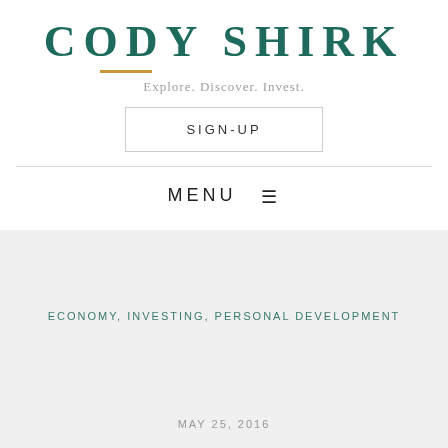CODY SHIRK
Explore. Discover. Invest.
SIGN-UP
MENU ☰
ECONOMY, INVESTING, PERSONAL DEVELOPMENT
MAY 25, 2016